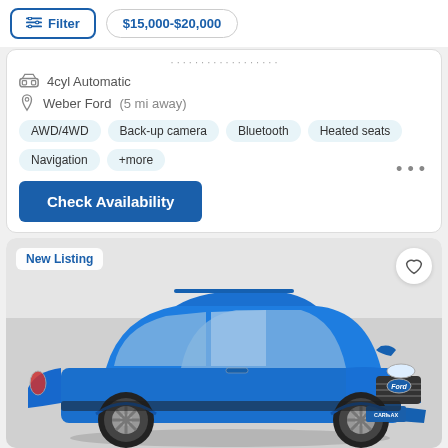Filter
$15,000-$20,000
4cyl Automatic
Weber Ford (5 mi away)
AWD/4WD
Back-up camera
Bluetooth
Heated seats
Navigation
+more
Check Availability
New Listing
[Figure (photo): Blue Ford EcoSport SUV photographed from front-left angle against a white/grey background, with a CarMax license plate frame]